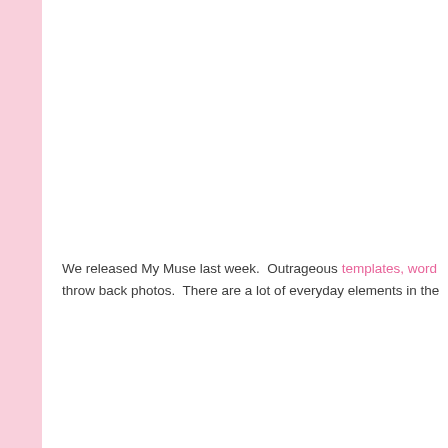We released My Muse last week.  Outrageous templates, word... throw back photos.  There are a lot of everyday elements in the...